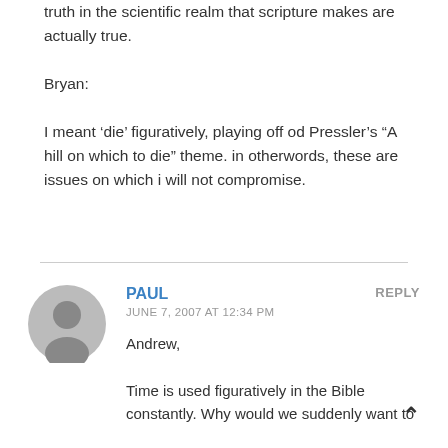truth in the scientific realm that scripture makes are actually true.

Bryan:

I meant ‘die’ figuratively, playing off od Pressler’s “A hill on which to die” theme. in otherwords, these are issues on which i will not compromise.
PAUL
JUNE 7, 2007 AT 12:34 PM
Andrew,

Time is used figuratively in the Bible constantly. Why would we suddenly want to